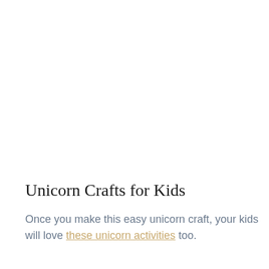Unicorn Crafts for Kids
Once you make this easy unicorn craft, your kids will love these unicorn activities too.